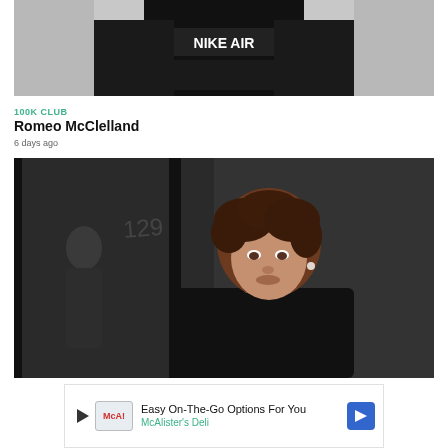[Figure (photo): Person wearing a black Nike Air hoodie/sweatshirt, top portion cropped, light grey background]
100K CLUB
Romeo McClelland
6 days ago
[Figure (photo): Young man with curly dark hair wearing all black, looking at camera, reflection visible in glass behind him, dark background]
Easy On-The-Go Options For You
McAlister's Deli